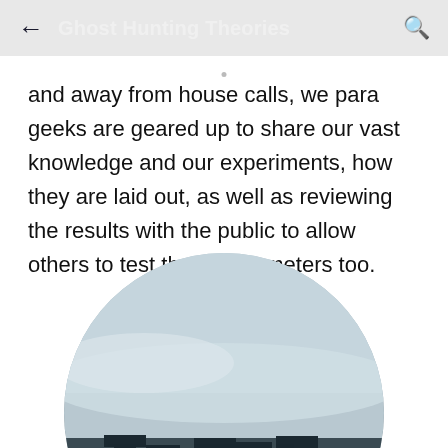Ghost Hunting Theories
and away from house calls, we para geeks are geared up to share our vast knowledge and our experiments, how they are laid out, as well as reviewing the results with the public to allow others to test these parameters too.
[Figure (photo): Circular cropped image showing Stonehenge silhouettes against a cloudy sky, with white text overlay partially visible at the bottom]